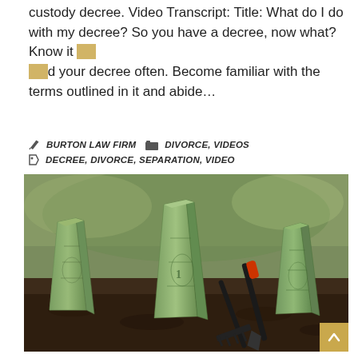custody decree. Video Transcript: Title: What do I do with my decree? So you have a decree, now what? Know it and read your decree often. Become familiar with the terms outlined in it and abide...
BURTON LAW FIRM   DIVORCE, VIDEOS   DECREE, DIVORCE, SEPARATION, VIDEO
[Figure (photo): Photo of US dollar bills folded and standing upright in soil like plants, with a small rake and shovel, garden background with green plants]